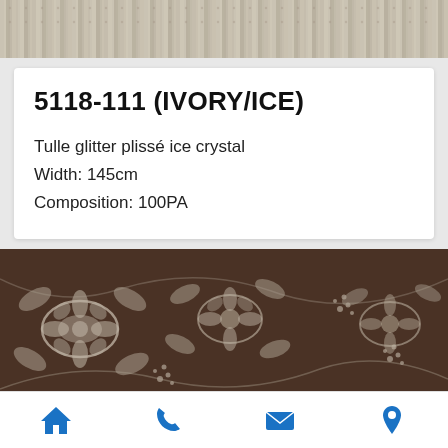[Figure (photo): Close-up of a textured fabric with diagonal stripe pattern in beige/ivory tones, cropped at top of page]
5118-111 (IVORY/ICE)
Tulle glitter plissé ice crystal
Width: 145cm
Composition: 100PA
[Figure (photo): Close-up photograph of floral lace fabric with ivory/cream embroidered floral pattern on dark brown/chocolate background]
[Figure (illustration): Footer navigation bar with four icons: home, phone, envelope (email), map pin/location — all in blue]